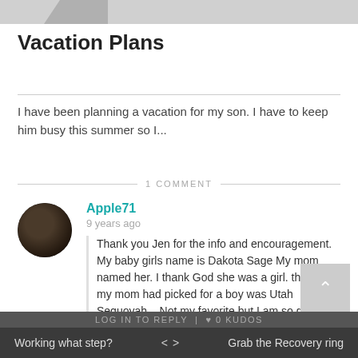[Figure (other): Decorative top banner with gray diagonal accent]
Vacation Plans
I have been planning a vacation for my son. I have to keep him busy this summer so I...
1 COMMENT
Apple71
9 years ago
Thank you Jen for the info and encouragement. My baby girls name is Dakota Sage My mom named her. I thank God she was a girl. the name my mom had picked for a boy was Utah Sequoyah... Not my favorite but I am so glad for a precious little stick of DY-NO-MITE such as my little girl.
LOG IN TO REPLY | ♥ 0 KUDOS
Working what step? < > Grab the Recovery ring